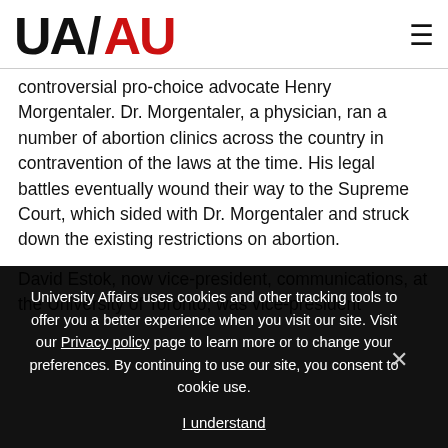UA/AU (University Affairs logo and hamburger menu)
controversial pro-choice advocate Henry Morgentaler. Dr. Morgentaler, a physician, ran a number of abortion clinics across the country in contravention of the laws at the time. His legal battles eventually wound their way to the Supreme Court, which sided with Dr. Morgentaler and struck down the existing restrictions on abortion.
David Estok, now vice-president, communications, at the University of Toronto, was vice-president
University Affairs uses cookies and other tracking tools to offer you a better experience when you visit our site. Visit our Privacy policy page to learn more or to change your preferences. By continuing to use our site, you consent to cookie use.
I understand